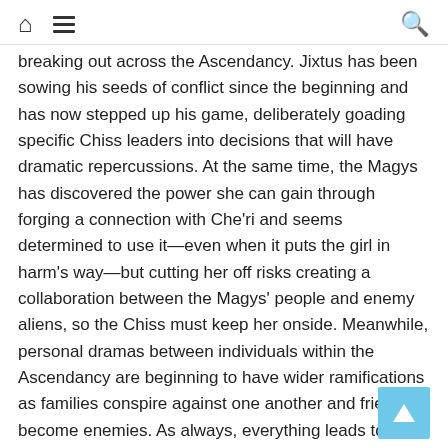Home | Menu | Search
breaking out across the Ascendancy. Jixtus has been sowing his seeds of conflict since the beginning and has now stepped up his game, deliberately goading specific Chiss leaders into decisions that will have dramatic repercussions. At the same time, the Magys has discovered the power she can gain through forging a connection with Che'ri and seems determined to use it—even when it puts the girl in harm's way—but cutting her off risks creating a collaboration between the Magys' people and enemy aliens, so the Chiss must keep her onside. Meanwhile, personal dramas between individuals within the Ascendancy are beginning to have wider ramifications as families conspire against one another and friends become enemies. As always, everything leads to one final epic confrontation between the Thrawn and the Ascendancy vs Jixtus and his accomplices, but with alliances and divisions being reshaped seemingly by the hour, the battle lines are vague and Thrawn might be forced to use one of his people's most terrifying weapons.